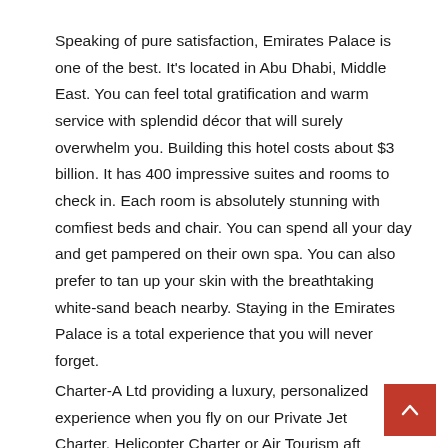Speaking of pure satisfaction, Emirates Palace is one of the best. It's located in Abu Dhabi, Middle East. You can feel total gratification and warm service with splendid décor that will surely overwhelm you. Building this hotel costs about $3 billion. It has 400 impressive suites and rooms to check in. Each room is absolutely stunning with comfiest beds and chair. You can spend all your day and get pampered on their own spa. You can also prefer to tan up your skin with the breathtaking white-sand beach nearby. Staying in the Emirates Palace is a total experience that you will never forget.
Charter-A Ltd providing a luxury, personalized experience when you fly on our Private Jet Charter, Helicopter Charter or Air Tourism after...